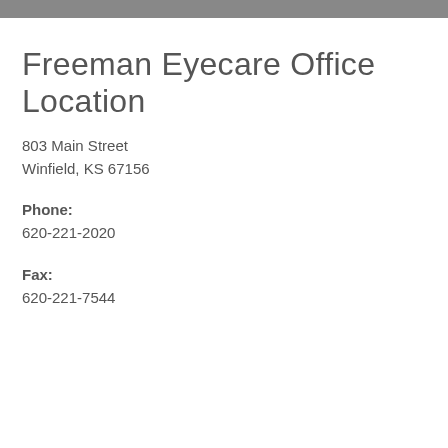Freeman Eyecare Office Location
803 Main Street
Winfield, KS 67156
Phone:
620-221-2020
Fax:
620-221-7544